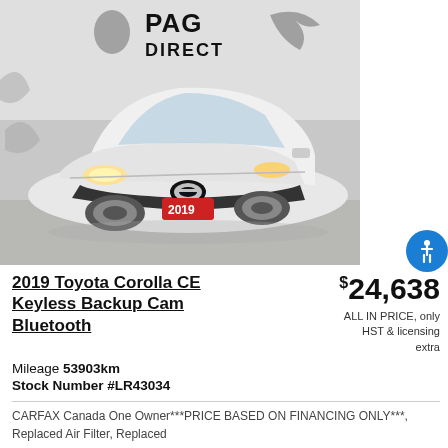[Figure (photo): White 2019 Toyota Corolla CE photographed inside a dealership showroom with PAG Direct branding on the wall. The car has headlights on and a red 2019 license plate visible on the front grille.]
2019 Toyota Corolla CE Keyless Backup Cam Bluetooth
$24,638
ALL IN PRICE, only HST & licensing extra
Mileage 53903km
Stock Number #LR43034
CARFAX Canada One Owner***PRICE BASED ON FINANCING ONLY***, Replaced Air Filter, Replaced